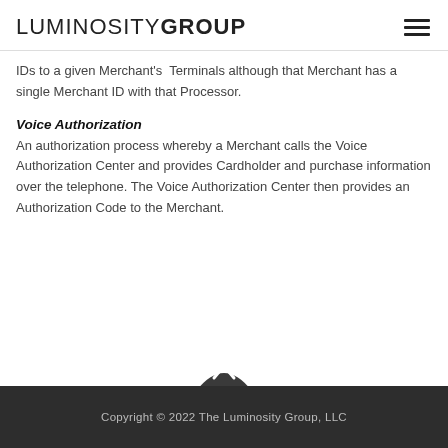LUMINOSITY GROUP
IDs to a given Merchant's Terminals although that Merchant has a single Merchant ID with that Processor.
Voice Authorization
An authorization process whereby a Merchant calls the Voice Authorization Center and provides Cardholder and purchase information over the telephone. The Voice Authorization Center then provides an Authorization Code to the Merchant.
Copyright © 2022 The Luminosity Group, LLC